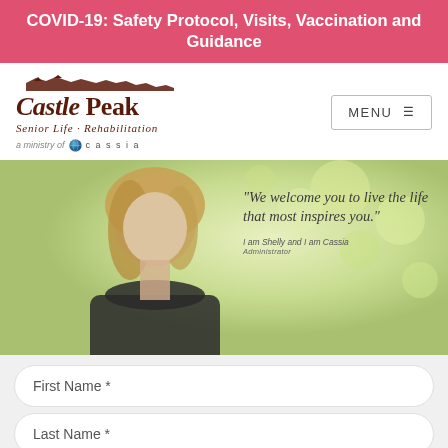COVID-19: Safety Protocol, Visits, Vaccination and Guidance
[Figure (logo): Castle Peak Senior Life - Rehabilitation, a ministry of Cassia logo]
[Figure (photo): Smiling blonde woman in dark jacket with quote: '"We welcome you to live the life that most inspires you."' attributed to 'I am Shelly and I am Cassia Administrator']
First Name *
Last Name *
Email Address *